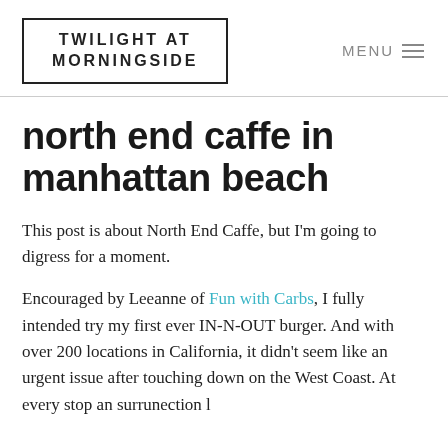TWILIGHT AT MORNINGSIDE
north end caffe in manhattan beach
This post is about North End Caffe, but I'm going to digress for a moment.
Encouraged by Leeanne of Fun with Carbs, I fully intended try my first ever IN-N-OUT burger. And with over 200 locations in California, it didn't seem like an urgent issue after touching down on the West Coast. At every stop an surrunection l